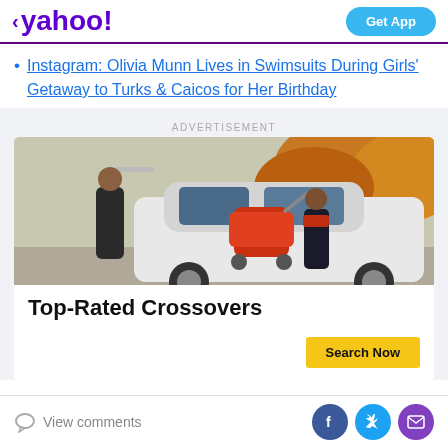< yahoo! | Get App
Instagram: Olivia Munn Lives in Swimsuits During Girls' Getaway to Turks & Caicos for Her Birthday
ADVERTISEMENT
[Figure (photo): Woman loading orange stroller into back of white crossover SUV, autumn trees in background]
Top-Rated Crossovers
Search Now
View comments